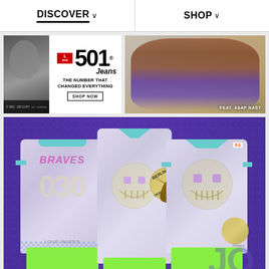DISCOVER ∨    SHOP ∨
[Figure (photo): Levi's 501 Jeans advertisement. Left side: black and white photo of a person. Right side: white background with Levi's logo and '501 Jeans' text, tagline 'THE NUMBER THAT CHANGED EVERYTHING', and 'SHOP NOW' button.]
[Figure (photo): Fashion photo of a man (FEAT. A$AP NAST) wearing maroon jacket and jeans, reclining on a light surface.]
[Figure (photo): EA Sports / Roberto Brundo image showing three figures wearing 'BRAVES' sports jerseys with smiley face design, purple background, holding yellow footballs.]
© EA SPORTS / ROBERTO BRUNDO